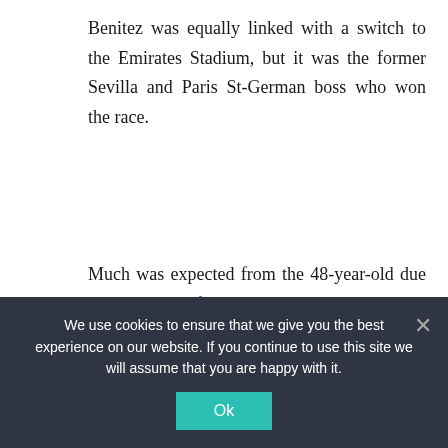Benitez was equally linked with a switch to the Emirates Stadium, but it was the former Sevilla and Paris St-German boss who won the race.
Much was expected from the 48-year-old due to his successful Europa League campaigns with Sevilla where he won back-to-back trophies.
Emery showed great promises in his early days in the dugout as he recorded 11 straight wins and played 22 matches without defeat. That’s not all, he equally
We use cookies to ensure that we give you the best experience on our website. If you continue to use this site we will assume that you are happy with it.